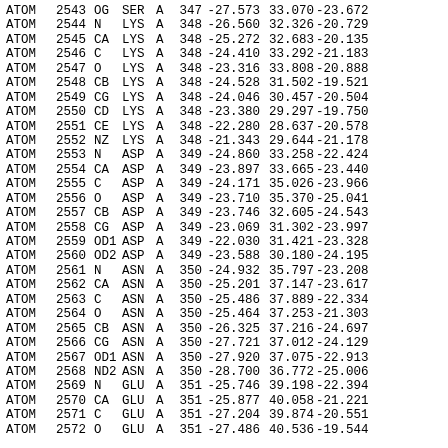| Type | Serial | Name | Res | Chain | SeqNum | X | Y | Z |
| --- | --- | --- | --- | --- | --- | --- | --- | --- |
| ATOM | 2543 | OG | SER | A | 347 | -27.573 | 33.070 | -23.672 |
| ATOM | 2544 | N | LYS | A | 348 | -26.560 | 32.326 | -20.729 |
| ATOM | 2545 | CA | LYS | A | 348 | -25.272 | 32.683 | -20.135 |
| ATOM | 2546 | C | LYS | A | 348 | -24.410 | 33.292 | -21.183 |
| ATOM | 2547 | O | LYS | A | 348 | -23.316 | 33.808 | -20.888 |
| ATOM | 2548 | CB | LYS | A | 348 | -24.528 | 31.502 | -19.521 |
| ATOM | 2549 | CG | LYS | A | 348 | -24.046 | 30.457 | -20.504 |
| ATOM | 2550 | CD | LYS | A | 348 | -23.380 | 29.297 | -19.750 |
| ATOM | 2551 | CE | LYS | A | 348 | -22.280 | 28.637 | -20.578 |
| ATOM | 2552 | NZ | LYS | A | 348 | -21.343 | 29.644 | -21.178 |
| ATOM | 2553 | N | ASP | A | 349 | -24.860 | 33.258 | -22.424 |
| ATOM | 2554 | CA | ASP | A | 349 | -23.897 | 33.665 | -23.440 |
| ATOM | 2555 | C | ASP | A | 349 | -24.171 | 35.026 | -23.966 |
| ATOM | 2556 | O | ASP | A | 349 | -23.710 | 35.370 | -25.041 |
| ATOM | 2557 | CB | ASP | A | 349 | -23.746 | 32.605 | -24.543 |
| ATOM | 2558 | CG | ASP | A | 349 | -23.069 | 31.302 | -23.997 |
| ATOM | 2559 | OD1 | ASP | A | 349 | -22.030 | 31.421 | -23.328 |
| ATOM | 2560 | OD2 | ASP | A | 349 | -23.588 | 30.180 | -24.195 |
| ATOM | 2561 | N | ASN | A | 350 | -24.932 | 35.797 | -23.208 |
| ATOM | 2562 | CA | ASN | A | 350 | -25.201 | 37.147 | -23.617 |
| ATOM | 2563 | C | ASN | A | 350 | -25.486 | 37.889 | -22.334 |
| ATOM | 2564 | O | ASN | A | 350 | -25.464 | 37.253 | -21.303 |
| ATOM | 2565 | CB | ASN | A | 350 | -26.325 | 37.216 | -24.697 |
| ATOM | 2566 | CG | ASN | A | 350 | -27.721 | 37.012 | -24.129 |
| ATOM | 2567 | OD1 | ASN | A | 350 | -27.920 | 37.075 | -22.913 |
| ATOM | 2568 | ND2 | ASN | A | 350 | -28.700 | 36.772 | -25.006 |
| ATOM | 2569 | N | GLU | A | 351 | -25.746 | 39.198 | -22.394 |
| ATOM | 2570 | CA | GLU | A | 351 | -25.877 | 40.058 | -21.221 |
| ATOM | 2571 | C | GLU | A | 351 | -27.204 | 39.874 | -20.551 |
| ATOM | 2572 | O | GLU | A | 351 | -27.486 | 40.536 | -19.544 |